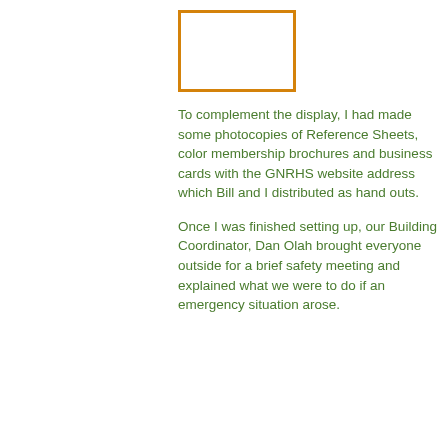[Figure (photo): Empty orange-bordered rectangular photo placeholder box]
To complement the display, I had made some photocopies of Reference Sheets, color membership brochures and business cards with the GNRHS website address which Bill and I distributed as hand outs.
Once I was finished setting up, our Building Coordinator, Dan Olah brought everyone outside for a brief safety meeting and explained what we were to do if an emergency situation arose.